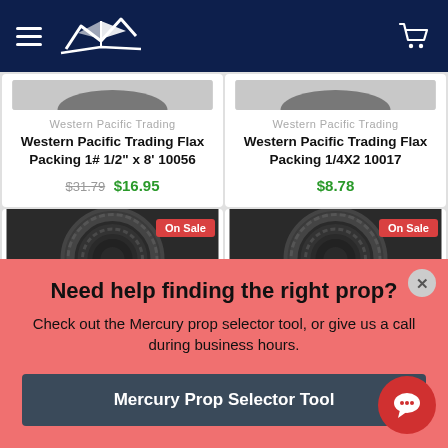Western Pacific Trading navigation header
Western Pacific Trading
Western Pacific Trading Flax Packing 1# 1/2" x 8' 10056
$31.79 $16.95
Western Pacific Trading
Western Pacific Trading Flax Packing 1/4X2 10017
$8.78
[Figure (photo): Black rope/packing coil product with On Sale badge]
[Figure (photo): Black rope/packing coil product with On Sale badge]
Need help finding the right prop? Check out the Mercury prop selector tool, or give us a call during business hours.
Mercury Prop Selector Tool